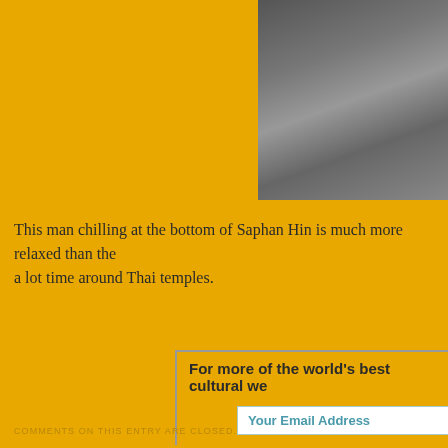[Figure (photo): Photo of rocks/stones at Saphan Hin, partially cropped, showing rubble and stone surface with a person visible at top right corner]
This man chilling at the bottom of Saphan Hin is much more relaxed than the a lot time around Thai temples.
For more of the world's best cultural we
Your Email Address
COMMENTS ON THIS ENTRY ARE CLOSED.